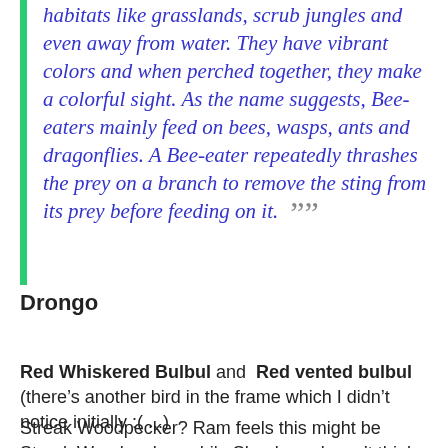common in India and can be found in various habitats like grasslands, scrub jungles and even away from water. They have vibrant colors and when perched together, they make a colorful sight. As the name suggests, Bee-eaters mainly feed on bees, wasps, ants and dragonflies. A Bee-eater repeatedly thrashes the prey on a branch to remove the sting from its prey before feeding on it. ””
Drongo
Red Whiskered Bulbul and Red vented bulbul (there’s another bird in the frame which I didn’t notice initially :( ...)
Streak Woodpecker? Ram feels this might be Streak Woodpecker, while Shankara doesn’t think so. If you have a definitive answer, do comment. I waited for 10